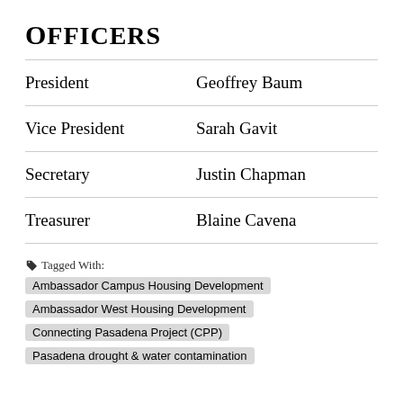Officers
| Role | Name |
| --- | --- |
| President | Geoffrey Baum |
| Vice President | Sarah Gavit |
| Secretary | Justin Chapman |
| Treasurer | Blaine Cavena |
Tagged With: Ambassador Campus Housing Development | Ambassador West Housing Development | Connecting Pasadena Project (CPP) | Pasadena drought & water contamination